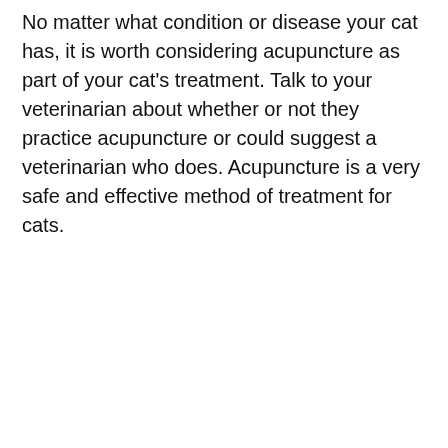No matter what condition or disease your cat has, it is worth considering acupuncture as part of your cat's treatment. Talk to your veterinarian about whether or not they practice acupuncture or could suggest a veterinarian who does. Acupuncture is a very safe and effective method of treatment for cats.
We use cookies on our website to give you the most relevant experience by remembering your preferences and repeat visits. By clicking "Accept", you consent to the use of ALL the cookies.